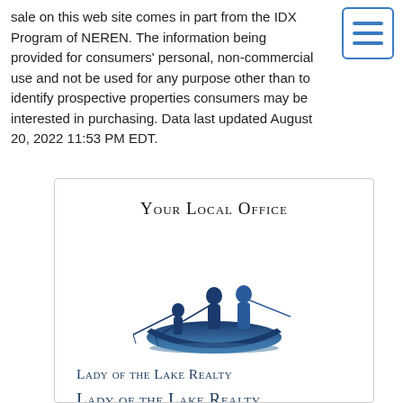sale on this web site comes in part from the IDX Program of NEREN. The information being provided for consumers' personal, non-commercial use and not be used for any purpose other than to identify prospective properties consumers may be interested in purchasing. Data last updated August 20, 2022 11:53 PM EDT.
[Figure (illustration): Hamburger menu button icon with three horizontal blue lines inside a blue-bordered rounded rectangle]
Your Local Office
[Figure (logo): Silhouette of two people fishing from a boat, rendered in dark to medium blue gradient]
Lady of the Lake Realty
Lady of the Lake Realty